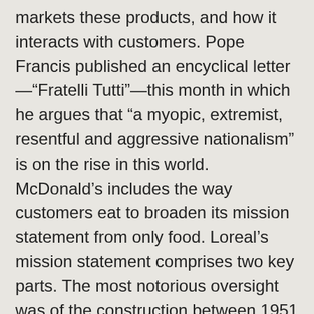markets these products, and how it interacts with customers. Pope Francis published an encyclical letter—“Fratelli Tutti”—this month in which he argues that “a myopic, extremist, resentful and aggressive nationalism” is on the rise in this world. McDonald’s includes the way customers eat to broaden its mission statement from only food. Loreal’s mission statement comprises two key parts. The most notorious oversight was of the construction between 1951 and 1957 of China’s National Highway 219 through the Aksai Chin plateau. close up. Let us know in the comments below! One neighborhood ensures Starbucks’ over 30,000 stores focus on the community, not just the retail store. “For example, there was the dream of a united Europe, capable of acknowledging its shared roots and rejoicing in its rich diversity,” he said. There is an ancient ballad from England saying: "For want of a nail the shoe was lost; For want of a shoe the horse was lost; For want of a horse the rider was